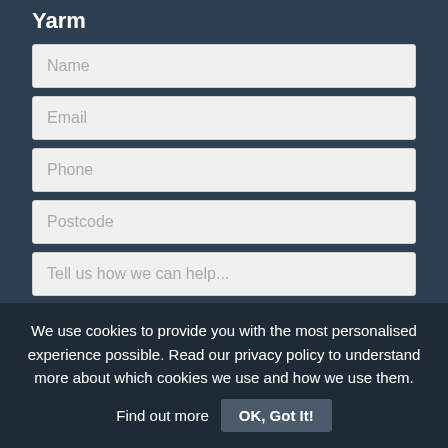Yarm
Name
Email
Phone
Postcode
Tell us how we can help...
Add files/photos
We use cookies to provide you with the most personalised experience possible. Read our privacy policy to understand more about which cookies we use and how we use them. Find out more  OK, Got It!